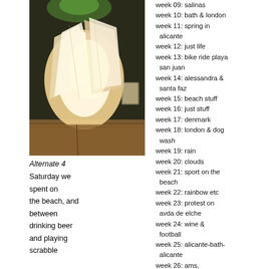[Figure (photo): A warm-toned photograph of white paper bags and a translucent cup on a wooden surface, with a green-lit dark background.]
Alternate 4
Saturday we spent on the beach, and between drinking beer and playing scrabble
week 09: salinas
week 10: bath & london
week 11: spring in alicante
week 12: just life
week 13: bike ride playa san juan
week 14: alessandra & santa faz
week 15: beach stuff
week 16: just stuff
week 17: denmark
week 18: london & dog wash
week 19: rain
week 20: clouds
week 21: sport on the beach
week 22: rainbow etc
week 23: protest on avda de elche
week 24: wine & football
week 25: alicante-bath-alicante
week 26: ams, maastricht, girls
week 27: madrid
week 28: brighton and london
week 29: musical boobs
week 30: tiki bar
week 31: moving